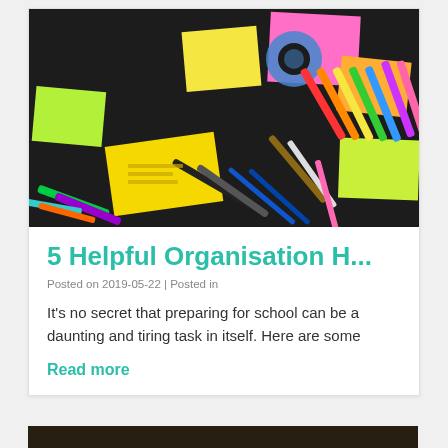[Figure (photo): Overhead view of colorful school supplies on a dark desk: sticky notes in yellow, pink, green; markers and pens in multiple colors; a roll of tape; a compass; and other stationery items arranged on a black background.]
5 Helpful Organisation H...
Posted on 2019-05-22 | Posted in
It's no secret that preparing for school can be a daunting and tiring task in itself. Here are some
Read more